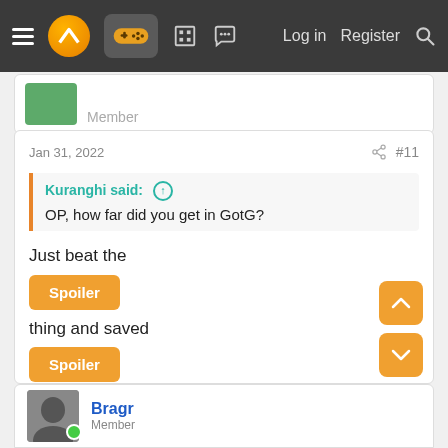Navigation bar with menu, logo, gamepad icon, building icon, chat icon, Log in, Register, Search
Jan 31, 2022  #11
Kuranghi said: ↑
OP, how far did you get in GotG?
Just beat the
Spoiler
thing and saved
Spoiler
. Then I was dealing with those purple glowing bullet sponge space suit enemies and I gave up.
Bragr
Member